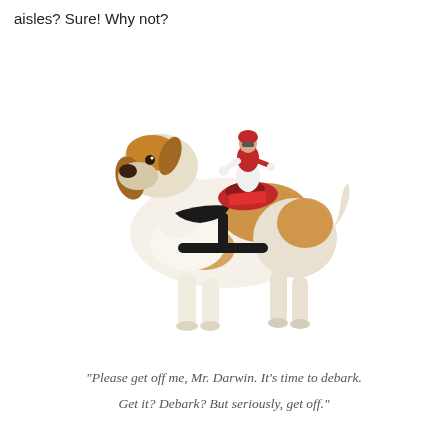aisles? Sure! Why not?
[Figure (photo): A beagle dog wearing a toy jockey rider costume/saddle on its back, posed against a white background. The dog is in a walking stance facing left, and has a small figurine of a jockey in a red uniform sitting on a saddle strapped to its back.]
“Please get off me, Mr. Darwin. It’s time to debark. Get it? Debark? But seriously, get off.”